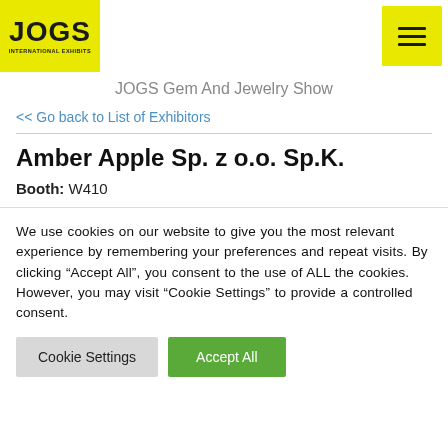[Figure (logo): JOGS International Exhibits logo on yellow background]
[Figure (other): Hamburger menu icon on yellow background]
JOGS Gem And Jewelry Show
<< Go back to List of Exhibitors
Amber Apple Sp. z o.o. Sp.K.
Booth: W410
We use cookies on our website to give you the most relevant experience by remembering your preferences and repeat visits. By clicking “Accept All”, you consent to the use of ALL the cookies. However, you may visit “Cookie Settings” to provide a controlled consent.
Cookie Settings
Accept All